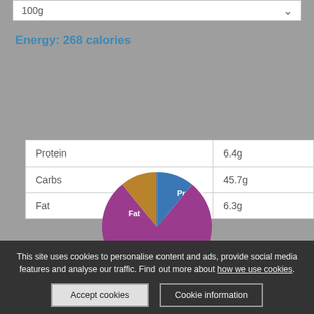100g
Energy: 268 calories
|  |  |
| --- | --- |
| Protein | 6.4g |
| Carbs | 45.7g |
| Fat | 6.3g |
[Figure (pie-chart): Macronutrient breakdown]
This site uses cookies to personalise content and ads, provide social media features and analyse our traffic. Find out more about how we use cookies.
Accept cookies
Cookie information